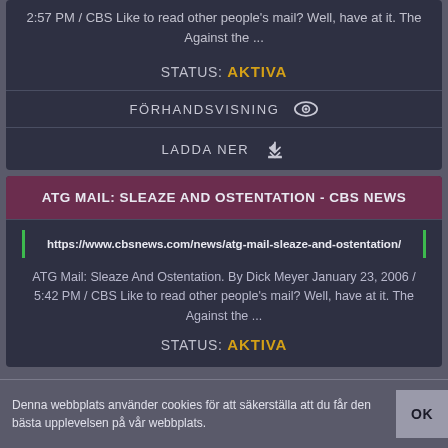2:57 PM / CBS Like to read other people's mail? Well, have at it. The Against the ...
STATUS: AKTIVA
FÖRHANDSVISNING
LADDA NER
ATG MAIL: SLEAZE AND OSTENTATION - CBS NEWS
https://www.cbsnews.com/news/atg-mail-sleaze-and-ostentation/
ATG Mail: Sleaze And Ostentation. By Dick Meyer January 23, 2006 / 5:42 PM / CBS Like to read other people's mail? Well, have at it. The Against the ...
STATUS: AKTIVA
Denna webbplats använder cookies för att säkerställa att du får den bästa upplevelsen på vår webbplats.